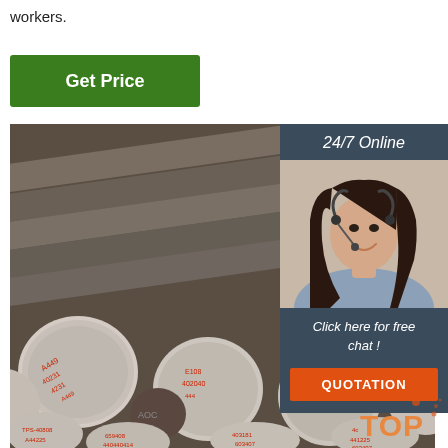workers.
[Figure (other): Green 'Get Price' button]
[Figure (photo): Steel round bars/rods stacked together with red Chinese text markings on the ends, viewed from the front showing circular cross-sections]
[Figure (infographic): 24/7 Online chat widget with customer service representative photo, 'Click here for free chat!' text, and orange QUOTATION button]
[Figure (logo): TOP logo with orange splash/paint mark in bottom right corner]